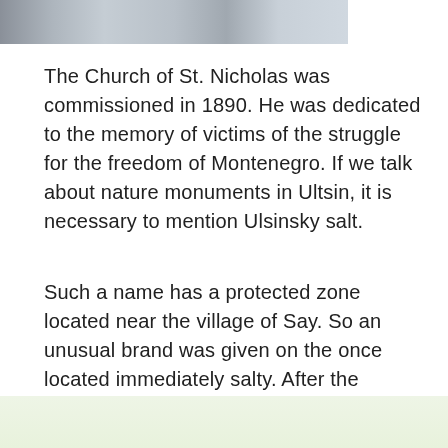[Figure (photo): A street scene photo strip at the top of the page showing buildings and vehicles]
The Church of St. Nicholas was commissioned in 1890. He was dedicated to the memory of victims of the struggle for the freedom of Montenegro. If we talk about nature monuments in Ultsin, it is necessary to mention Ulsinsky salt.
Such a name has a protected zone located near the village of Say. So an unusual brand was given on the once located immediately salty. After the closure of salt production, birds began to arrive here. And since 2015, the territory was submitted to the organization engaged in the National Parks of Montenegro.
[Figure (illustration): A light green/mint colored background strip at the bottom of the page]